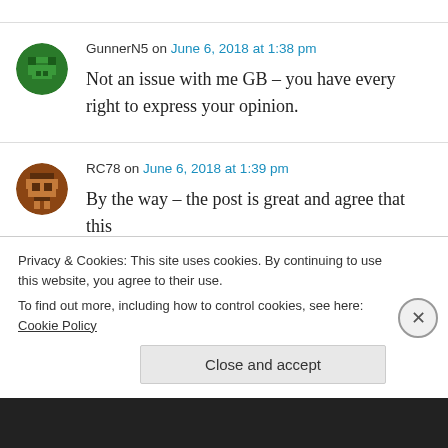GunnerN5 on June 6, 2018 at 1:38 pm
Not an issue with me GB – you have every right to express your opinion.
RC78 on June 6, 2018 at 1:39 pm
By the way – the post is great and agree that this
Privacy & Cookies: This site uses cookies. By continuing to use this website, you agree to their use.
To find out more, including how to control cookies, see here: Cookie Policy